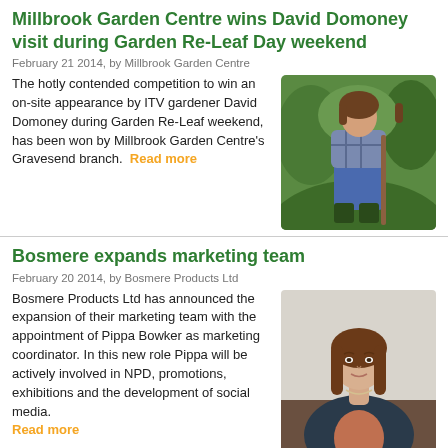Millbrook Garden Centre wins David Domoney visit during Garden Re-Leaf Day weekend
February 21 2014, by Millbrook Garden Centre
The hotly contended competition to win an on-site appearance by ITV gardener David Domoney during Garden Re-Leaf weekend, has been won by Millbrook Garden Centre's Gravesend branch. Read more
[Figure (photo): Person standing in a garden holding a spade, wearing a plaid shirt and jeans]
Bosmere expands marketing team
February 20 2014, by Bosmere Products Ltd
Bosmere Products Ltd has announced the expansion of their marketing team with the appointment of Pippa Bowker as marketing coordinator. In this new role Pippa will be actively involved in NPD, promotions, exhibitions and the development of social media. Read more
[Figure (photo): Portrait of a woman with long brown hair wearing a blazer, sitting in an office chair]